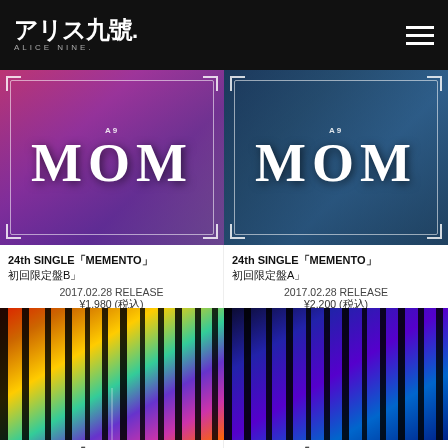アリス九號. ALICE NINE.
[Figure (photo): 24th Single MEMENTO album cover Type B - pink/purple MOM letters with decorative border]
24th SINGLE「MEMENTO」
初回限定盤B」
2017.02.28 RELEASE
¥1,980 (税込)
[Figure (photo): 24th Single MEMENTO album cover Type A - blue/teal MOM letters with decorative border]
24th SINGLE「MEMENTO」
初回限定盤A」
2017.02.28 RELEASE
¥2,200 (税込)
[Figure (photo): 23th Single SHINING album cover left - colorful band photo with vertical black stripes overlay]
[Figure (photo): 23th Single SHINING album cover right - blue/purple band photo with vertical black stripes overlay]
23th SINGLE「SHINING」
23th SINGLE「SHINING」